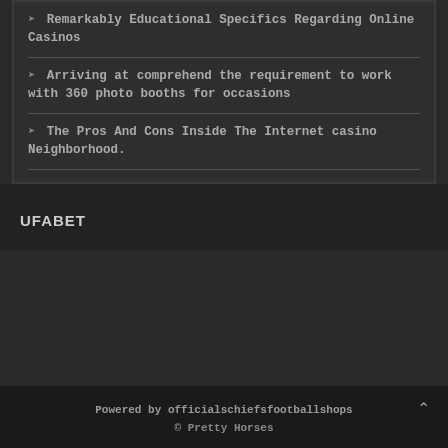Remarkably Educational Specifics Regarding Online Casinos
Arriving at comprehend the requirement to work with 360 photo booths for occasions
The Pros And Cons Inside The Internet casino Neighborhood.
UFABET
Powered by officialschiefsfootballshops
© Pretty Horses